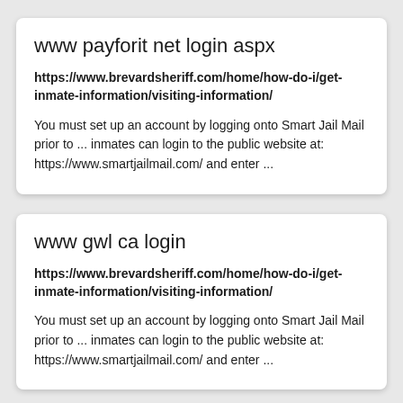www payforit net login aspx
https://www.brevardsheriff.com/home/how-do-i/get-inmate-information/visiting-information/
You must set up an account by logging onto Smart Jail Mail prior to ... inmates can login to the public website at: https://www.smartjailmail.com/ and enter ...
www gwl ca login
https://www.brevardsheriff.com/home/how-do-i/get-inmate-information/visiting-information/
You must set up an account by logging onto Smart Jail Mail prior to ... inmates can login to the public website at: https://www.smartjailmail.com/ and enter ...